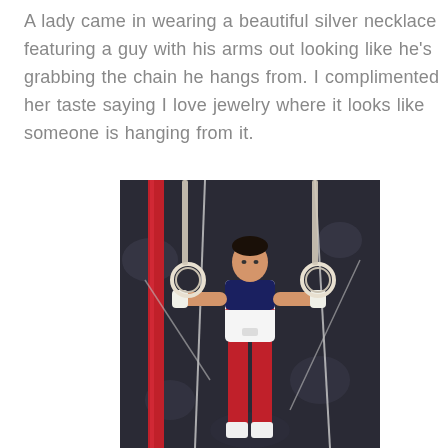A lady came in wearing a beautiful silver necklace featuring a guy with his arms out looking like he's grabbing the chain he hangs from. I complimented her taste saying I love jewelry where it looks like someone is hanging from it.
[Figure (photo): A male gymnast performing on gymnastics rings, wearing a red and white leotard with a red vertical bar/post on the left side, photographed in an indoor arena with dark blurred background.]